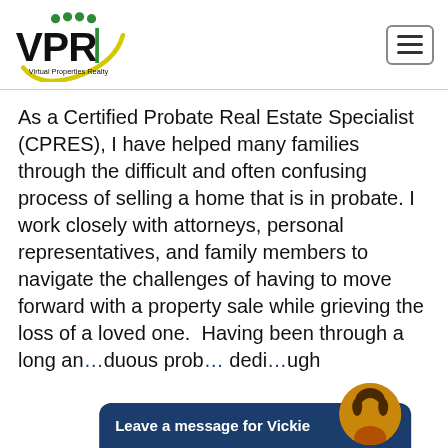Virtual Properties Realty (VPR) logo and navigation
As a Certified Probate Real Estate Specialist (CPRES), I have helped many families through the difficult and often confusing process of selling a home that is in probate. I work closely with attorneys, personal representatives, and family members to navigate the challenges of having to move forward with a property sale while grieving the loss of a loved one. Having been through a long and arduous prob... dedi... ugh
Leave a message for Vickie